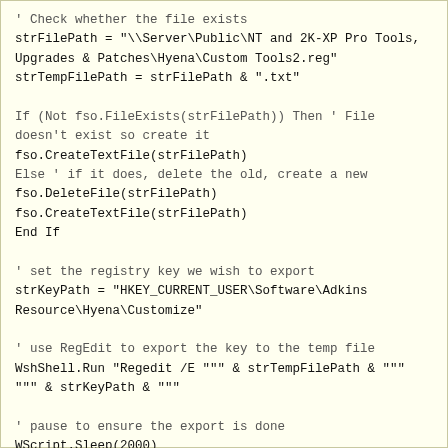' Check whether the file exists
strFilePath = "\\Server\Public\NT and 2K-XP Pro Tools, Upgrades & Patches\Hyena\Custom Tools2.reg"
strTempFilePath = strFilePath & ".txt"

If (Not fso.FileExists(strFilePath)) Then ' File doesn't exist so create it
fso.CreateTextFile(strFilePath)
Else ' if it does, delete the old, create a new
fso.DeleteFile(strFilePath)
fso.CreateTextFile(strFilePath)
End If

' set the registry key we wish to export
strKeyPath = "HKEY_CURRENT_USER\Software\Adkins Resource\Hyena\Customize"

' use RegEdit to export the key to the temp file
WshShell.Run "Regedit /E """ & strTempFilePath & """ """ & strKeyPath & """

' pause to ensure the export is done
WScript.Sleep(2000)

' use notepad to save the file in ANSI format
' this must be done so the fso can read it correctly
' (default format of regedit export is UNICODE)
WshShell.Run "%SystemRoot%\notepad.exe " & strTempFilePath
WScript.Sleep(1000) 'pause to ensure Notepad keeps the focus

WshShell.SendKeys ("%{f}") ' Alt+F